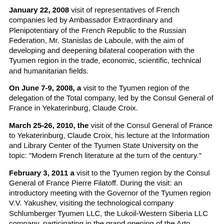January 22, 2008 visit of representatives of French companies led by Ambassador Extraordinary and Plenipotentiary of the French Republic to the Russian Federation, Mr. Stanislas de Laboule, with the aim of developing and deepening bilateral cooperation with the Tyumen region in the trade, economic, scientific, technical and humanitarian fields.
On June 7-9, 2008, a visit to the Tyumen region of the delegation of the Total company, led by the Consul General of France in Yekaterinburg, Claude Croix.
March 25-26, 2010, the visit of the Consul General of France to Yekaterinburg, Claude Croix, his lecture at the Information and Library Center of the Tyumen State University on the topic: "Modern French literature at the turn of the century."
February 3, 2011 a visit to the Tyumen region by the Consul General of France Pierre Filatoff. During the visit: an introductory meeting with the Governor of the Tyumen region V.V. Yakushev, visiting the technological company Schlumberger Tyumen LLC, the Lukoil-Western Siberia LLC company, participating in the grand opening of the Arto, Theater and Its Double exhibition at the Tyumen Drama Theater.